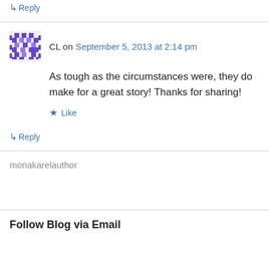↳ Reply
CL on September 5, 2013 at 2:14 pm
As tough as the circumstances were, they do make for a great story! Thanks for sharing!
★ Like
↳ Reply
monakarelauthor
Follow Blog via Email